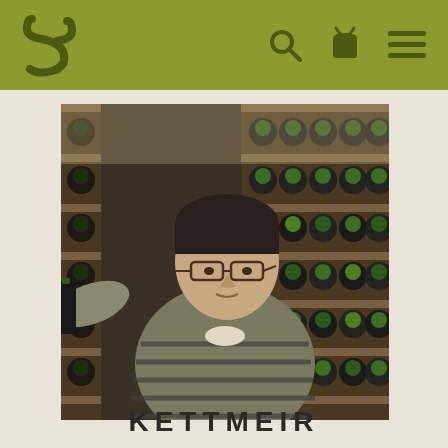S [logo] [search icon] [basket icon] [menu icon]
[Figure (photo): A man wearing glasses and a striped sweater reaching for a wine bottle in a wine cellar with rows of bottles on shelves with green capsules visible]
KETTMEIR